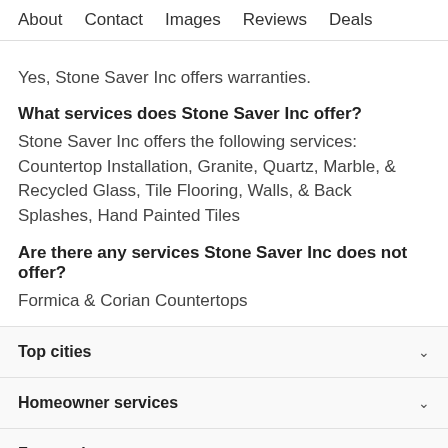About   Contact   Images   Reviews   Deals
Yes, Stone Saver Inc offers warranties.
What services does Stone Saver Inc offer?
Stone Saver Inc offers the following services: Countertop Installation, Granite, Quartz, Marble, & Recycled Glass, Tile Flooring, Walls, & Back Splashes, Hand Painted Tiles
Are there any services Stone Saver Inc does not offer?
Formica & Corian Countertops
Top cities
Homeowner services
For service pros